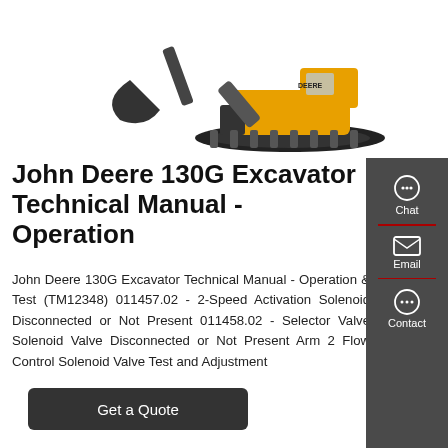[Figure (photo): John Deere 130G excavator photo — large yellow and black tracked excavator on white background, showing boom/arm/bucket assembly and cab]
John Deere 130G Excavator Technical Manual - Operation
John Deere 130G Excavator Technical Manual - Operation & Test (TM12348) 011457.02 - 2-Speed Activation Solenoid Disconnected or Not Present 011458.02 - Selector Valve Solenoid Valve Disconnected or Not Present Arm 2 Flow Control Solenoid Valve Test and Adjustment
[Figure (other): Get a Quote button — dark grey rounded rectangle button with white text]
[Figure (infographic): Side panel with Chat, Email, Contact icons on dark grey background]